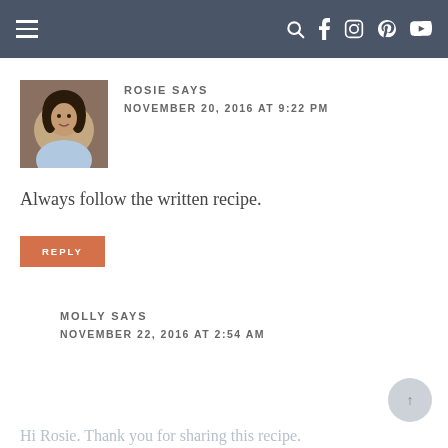Navigation bar with hamburger menu and social icons
ROSIE SAYS
NOVEMBER 20, 2016 AT 9:22 PM
Always follow the written recipe.
REPLY
MOLLY SAYS
NOVEMBER 22, 2016 AT 2:54 AM
Hi Rosie. Thank you for sharing this recipe.